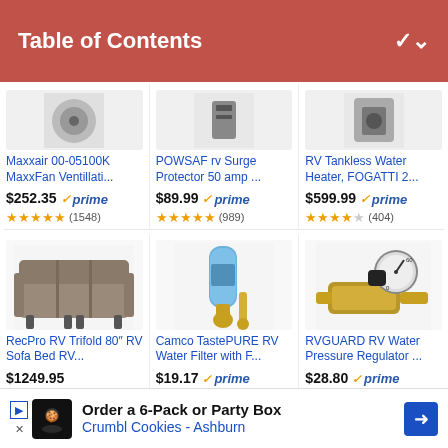Table of Contents
[Figure (photo): Maxxair 00-05100K MaxxFan Ventillati... product image (fan vent)]
Maxxair 00-05100K MaxxFan Ventillati...
$252.35 ✓prime (1548 reviews, 4.5 stars)
[Figure (photo): POWSAF rv Surge Protector 50 amp product image]
POWSAF rv Surge Protector 50 amp ...
$89.99 ✓prime (989 reviews, 4.5 stars)
[Figure (photo): RV Tankless Water Heater, FOGATTI 2... product image]
RV Tankless Water Heater, FOGATTI 2...
$599.99 ✓prime (404 reviews, 4 stars)
[Figure (photo): RecPro RV Trifold 80" RV Sofa Bed product image - brown sofa]
RecPro RV Trifold 80" RV Sofa Bed RV...
$1249.95 (5 reviews, 5 stars)
[Figure (photo): Camco TastePURE RV Water Filter with F... product image - blue filter]
Camco TastePURE RV Water Filter with F...
$19.17 ✓prime (38460 reviews, 5 stars)
[Figure (photo): RVGUARD RV Water Pressure Regulator product image - brass regulator]
RVGUARD RV Water Pressure Regulator ...
$28.80 ✓prime (5079 reviews, 4.5 stars)
Order a 6-Pack or Party Box
Crumbl Cookies - Ashburn